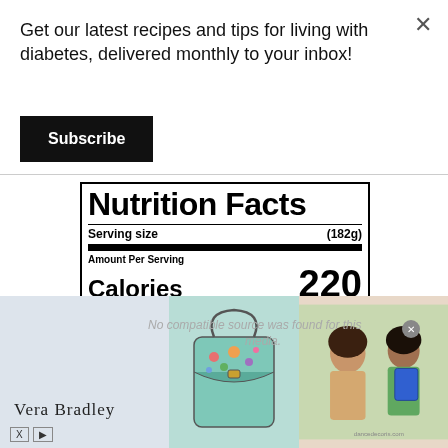Get our latest recipes and tips for living with diabetes, delivered monthly to your inbox!
Subscribe
[Figure (other): Nutrition Facts label showing: Serving size (182g), Amount Per Serving, Calories 220, Total Fat 16g 21%, Saturated Fat 5.5g 28%]
[Figure (photo): Vera Bradley advertisement banner with floral crossbody bag and two women with backpacks]